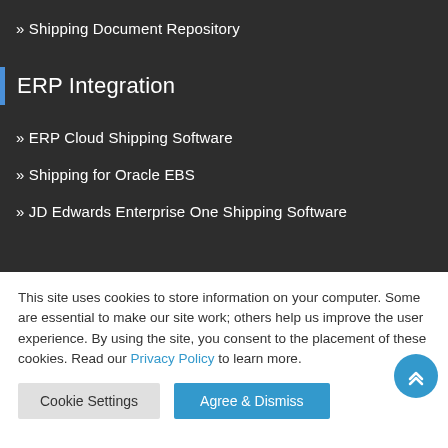» Shipping Document Repository
ERP Integration
» ERP Cloud Shipping Software
» Shipping for Oracle EBS
» JD Edwards Enterprise One Shipping Software
This site uses cookies to store information on your computer. Some are essential to make our site work; others help us improve the user experience. By using the site, you consent to the placement of these cookies. Read our Privacy Policy to learn more.
Cookie Settings | Agree & Dismiss